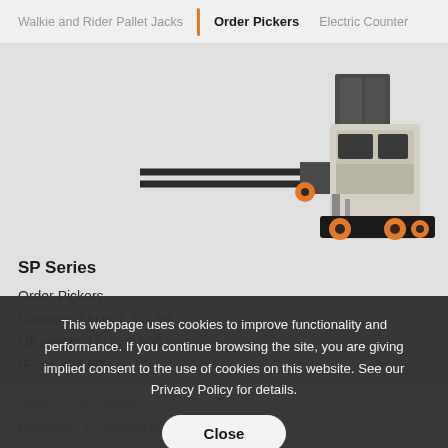Walkie and Rider Pallet Jacks | Order Pickers | Electric Counter
[Figure (photo): Order picker forklift / SP Series electric order picker with extended forks, visible in front-left angle, black and cream/beige body with orange accent wheels]
SP Series
Order Pickers
Capacity: Up to 1,250 kg
Lift Height: Up to 9,600 mm
*From ¥97,999
This webpage uses cookies to improve functionality and performance. If you continue browsing the site, you are giving implied consent to the use of cookies on this website. See our Privacy Policy for details.
Close
Uses / Pre-Owned
Electric Counterbalance Forklifts